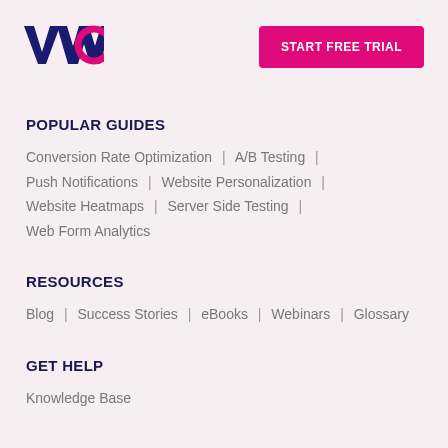[Figure (logo): VWO logo - navy blue V and magenta W and O letters]
START FREE TRIAL
POPULAR GUIDES
Conversion Rate Optimization  |  A/B Testing  |  Push Notifications  |  Website Personalization  |  Website Heatmaps  |  Server Side Testing  |  Web Form Analytics
RESOURCES
Blog  |  Success Stories  |  eBooks  |  Webinars  |  Glossary
GET HELP
Knowledge Base